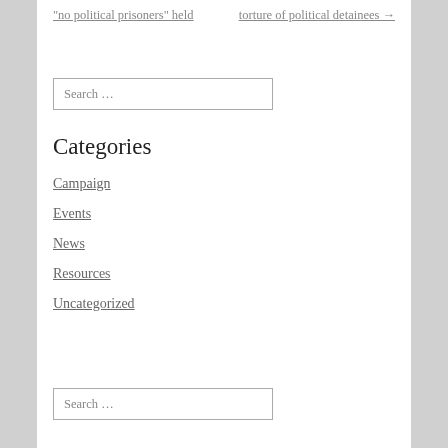“no political prisoners” held | torture of political detainees →
Search …
Categories
Campaign
Events
News
Resources
Uncategorized
Search …